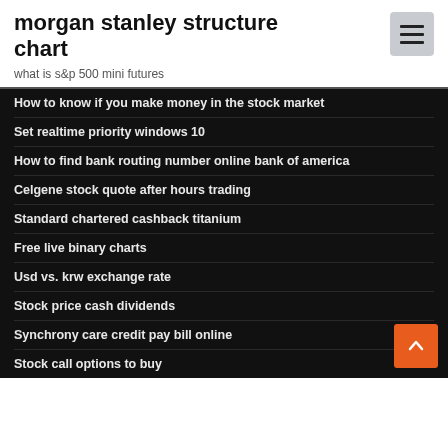morgan stanley structure chart
what is s&p 500 mini futures
How to know if you make money in the stock market
Set realtime priority windows 10
How to find bank routing number online bank of america
Celgene stock quote after hours trading
Standard chartered cashback titanium
Free live binary charts
Usd vs. krw exchange rate
Stock price cash dividends
Synchrony care credit pay bill online
Stock call options to buy